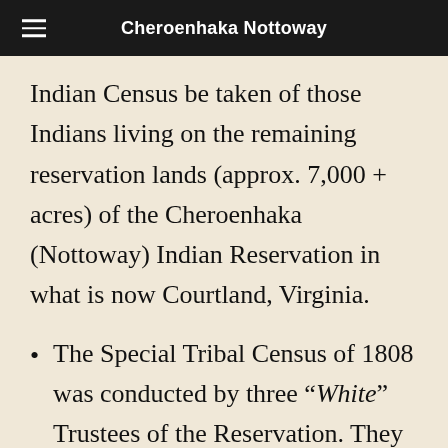Cheroenhaka Nottoway
Indian Census be taken of those Indians living on the remaining reservation lands (approx. 7,000 + acres) of the Cheroenhaka (Nottoway) Indian Reservation in what is now Courtland, Virginia.
The Special Tribal Census of 1808 was conducted by three “White” Trustees of the Reservation. They